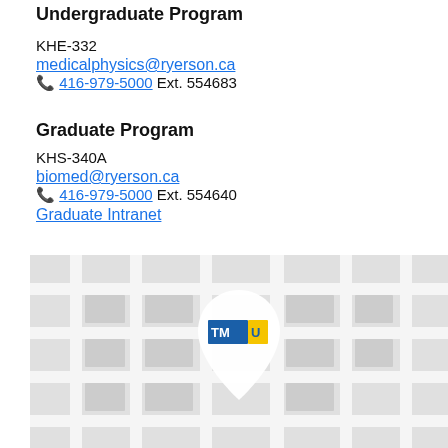Undergraduate Program
KHE-332
medicalphysics@ryerson.ca
📞 416-979-5000 Ext. 554683
Graduate Program
KHS-340A
biomed@ryerson.ca
📞 416-979-5000 Ext. 554640
Graduate Intranet
[Figure (map): Campus map showing a location pin with TMU (Toronto Metropolitan University) logo on a grey street map]